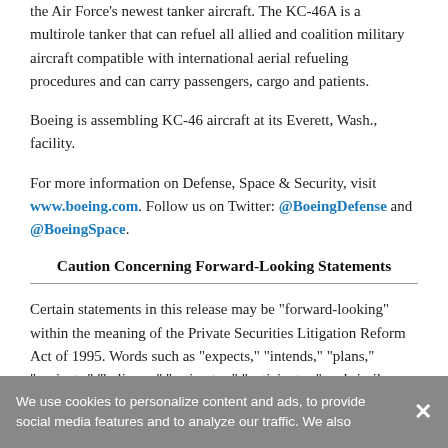the Air Force's newest tanker aircraft. The KC-46A is a multirole tanker that can refuel all allied and coalition military aircraft compatible with international aerial refueling procedures and can carry passengers, cargo and patients.
Boeing is assembling KC-46 aircraft at its Everett, Wash., facility.
For more information on Defense, Space & Security, visit www.boeing.com. Follow us on Twitter: @BoeingDefense and @BoeingSpace.
Caution Concerning Forward-Looking Statements
Certain statements in this release may be "forward-looking" within the meaning of the Private Securities Litigation Reform Act of 1995. Words such as "expects," "intends," "plans," "projects," "believes," "estimates," "anticipates," and similar expressions are used to identify these forward-looking statements. Examples of forward-looking statements include statements relating to our future plans, business prospects, financial condition and operating results, as well as any other statement that does not directly relate to any historical or current
We use cookies to personalize content and ads, to provide social media features and to analyze our traffic. We also